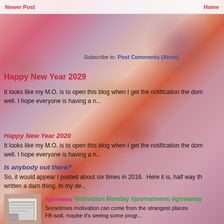Newer Post | Home
Subscribe to: Post Comments (Atom)
Happy New Year 2029
It looks like my M.O. is to open this blog when I get the notification the dom well. I hope everyone is having a n...
Happy New Year 2020
It looks like my M.O. is to open this blog when I get the notification the dom well. I hope everyone is having a n...
Is anybody out there?
So, it would appear I posted about six times in 2016.  Here it is, half way th written a darn thing. In my de...
[Figure (photo): Thumbnail image of journal/notebook pages]
Motivation Monday #journalmenu #giveaway
Sometimes motivation can come from the strangest places FB wall, maybe it's seeing some progr...